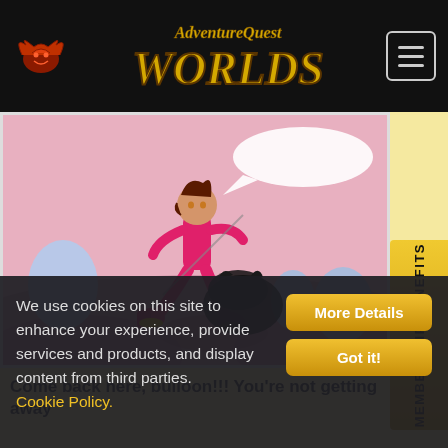AdventureQuest Worlds
[Figure (screenshot): Screenshot of AdventureQuest Worlds game showing a female character in pink outfit fighting a shadow creature in a pink environment]
Come back here, bulloon!!! You're not getting away
We use cookies on this site to enhance your experience, provide services and products, and display content from third parties. Cookie Policy.